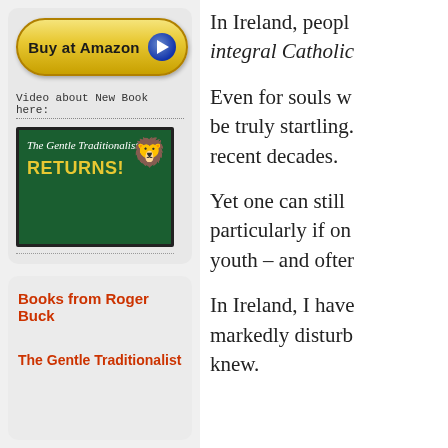[Figure (other): Buy at Amazon button with gold oval shape and blue play button icon]
Video about New Book here:
[Figure (screenshot): Video thumbnail showing dark green background with text 'The Gentle Traditionalist RETURNS!' and small illustrated character]
Books from Roger Buck
The Gentle Traditionalist
In Ireland, people speak of integral Catholic
Even for souls w be truly startling. recent decades.
Yet one can still particularly if on youth – and ofter
In Ireland, I have markedly disturb knew.